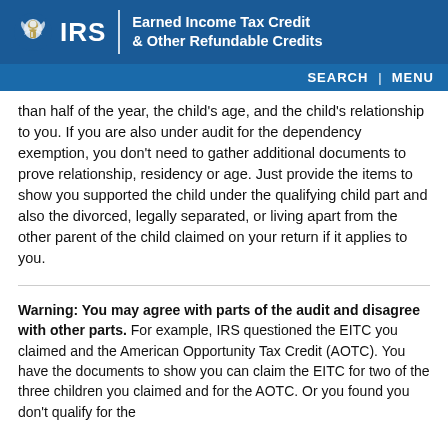IRS | Earned Income Tax Credit & Other Refundable Credits
than half of the year, the child's age, and the child's relationship to you. If you are also under audit for the dependency exemption, you don't need to gather additional documents to prove relationship, residency or age. Just provide the items to show you supported the child under the qualifying child part and also the divorced, legally separated, or living apart from the other parent of the child claimed on your return if it applies to you.
Warning: You may agree with parts of the audit and disagree with other parts. For example, IRS questioned the EITC you claimed and the American Opportunity Tax Credit (AOTC). You have the documents to show you can claim the EITC for two of the three children you claimed and for the AOTC. Or you found you don't qualify for the